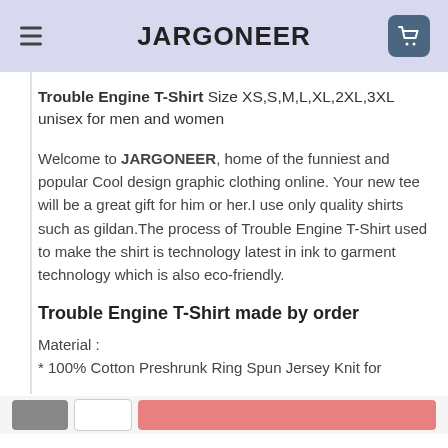JARGONEER
Trouble Engine T-Shirt Size XS,S,M,L,XL,2XL,3XL unisex for men and women
Welcome to JARGONEER, home of the funniest and popular Cool design graphic clothing online. Your new tee will be a great gift for him or her.I use only quality shirts such as gildan.The process of Trouble Engine T-Shirt used to make the shirt is technology latest in ink to garment technology which is also eco-friendly.
Trouble Engine T-Shirt made by order
Material :
* 100% Cotton Preshrunk Ring Spun Jersey Knit for